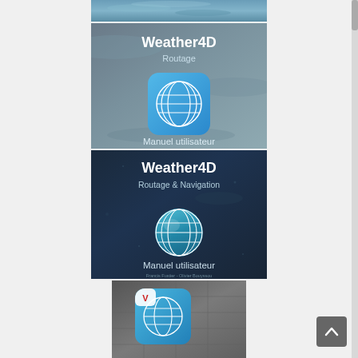[Figure (photo): Cropped top portion of a water/ocean background image]
[Figure (photo): Book cover: Weather4D Routage - Manuel utilisateur, gray water background with blue globe icon, authors Francis Fustier - Olivier Bouyssou]
[Figure (photo): Book cover: Weather4D Routage & Navigation - Manuel utilisateur, dark navy background with teal globe icon, authors Francis Fustier - Olivier Bouyssou]
[Figure (logo): App icon showing a globe with a red and blue 'W' or 'V' mark, on a gray background]